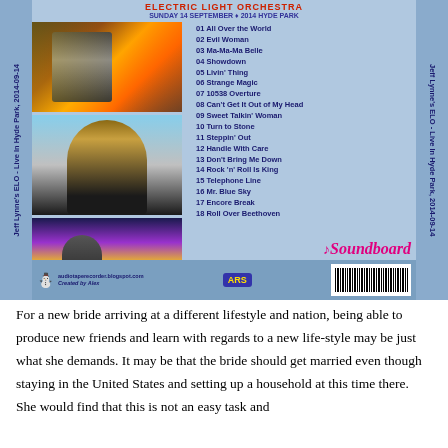[Figure (photo): CD back cover for Jeff Lynne's ELO - Live In Hyde Park, 2014-09-14. Light blue background with three concert/artist photos on the left, tracklist on the right listing 18 songs, Soundboard logo, barcode, and vertical text on both sides.]
For a new bride arriving at a different lifestyle and nation, being able to produce new friends and learn with regards to a new life-style may be just what she demands. It may be that the bride should get married even though staying in the United States and setting up a household at this time there. She would find that this is not an easy task and